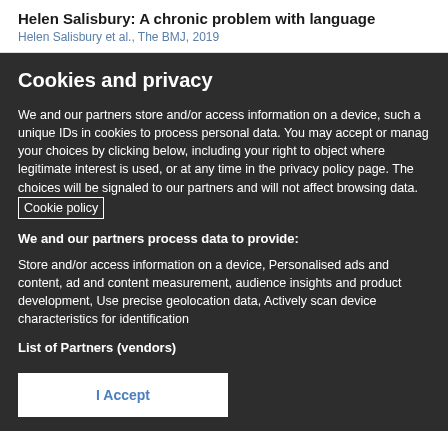Helen Salisbury: A chronic problem with language
Helen Salisbury et al., The BMJ, 2019
Cookies and privacy
We and our partners store and/or access information on a device, such a unique IDs in cookies to process personal data. You may accept or manag your choices by clicking below, including your right to object where legitimate interest is used, or at any time in the privacy policy page. The choices will be signaled to our partners and will not affect browsing data. Cookie policy
We and our partners process data to provide:
Store and/or access information on a device, Personalised ads and content, ad and content measurement, audience insights and product development, Use precise geolocation data, Actively scan device characteristics for identification
List of Partners (vendors)
I Accept